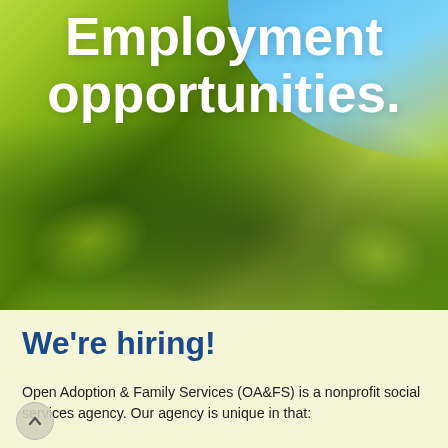[Figure (photo): Close-up photo of large green leaves (possibly fig or grape) with blue sky visible in the upper right corner. Leaves are bright yellow-green in sunlight with deep shadows. The background image spans the upper portion of the page.]
Employment opportunities.
We're hiring!
Open Adoption & Family Services (OA&FS) is a nonprofit social services agency. Our agency is unique in that: